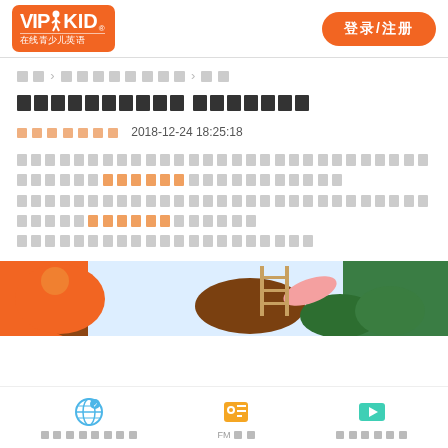[Figure (logo): VIPKID logo - orange background with VIPKID text and figure icon, subtitle 在线青少儿英语]
登录/注册
首页 > 学习资料库 > 文章
□□□□□□□□□□ □□□□□□□
□□□□□□□   2018-12-24 18:25:18
□□□□□□□□□□□□□□□□□□□□□□□□□□□□□□□□□□□□□□□□□□□□□□□□□□□□□□□□□□□□□□□□□□□□□□□□□□□□□□□□□□□□□□□□□□□□□□□□□□□□□□□□□□□□□□□□□□□□□□□□□□□
[Figure (illustration): Colorful cartoon illustration with orange, brown and green characters/animals in a forest scene]
[Figure (infographic): Bottom navigation bar with three icons: home/globe icon (□□□□□□□□), FM radio icon (FM□□), and video icon (□□□□□□)]